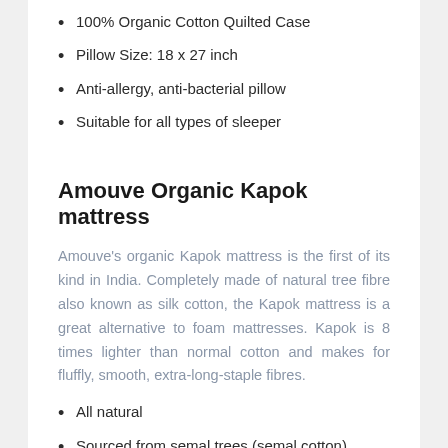100% Organic Cotton Quilted Case
Pillow Size: 18 x 27 inch
Anti-allergy, anti-bacterial pillow
Suitable for all types of sleeper
Amouve Organic Kapok mattress
Amouve's organic Kapok mattress is the first of its kind in India. Completely made of natural tree fibre also known as silk cotton, the Kapok mattress is a great alternative to foam mattresses. Kapok is 8 times lighter than normal cotton and makes for fluffly, smooth, extra-long-staple fibres.
All natural
Sourced from semal trees (semal cotton),